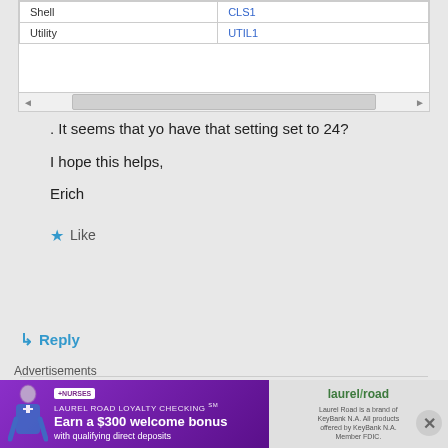[Figure (screenshot): A table screenshot showing two rows: Shell/CLS1 and Utility/UTIL1 with a scrollbar at the bottom]
. It seems that yo have that setting set to 24?
I hope this helps,
Erich
★ Like
↳ Reply
Marcela Dueñas on October 27, 2015 at 19:04
Advertisements
[Figure (illustration): Laurel Road Loyalty Checking advertisement banner: Earn a $300 welcome bonus with qualifying direct deposits. Features a nurse image on the left and the Laurel Road logo on the right.]